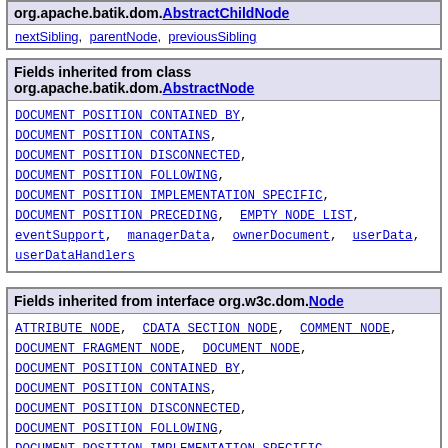org.apache.batik.dom.AbstractChildNode
nextSibling, parentNode, previousSibling
Fields inherited from class org.apache.batik.dom.AbstractNode
DOCUMENT_POSITION_CONTAINED_BY, DOCUMENT_POSITION_CONTAINS, DOCUMENT_POSITION_DISCONNECTED, DOCUMENT_POSITION_FOLLOWING, DOCUMENT_POSITION_IMPLEMENTATION_SPECIFIC, DOCUMENT_POSITION_PRECEDING, EMPTY_NODE_LIST, eventSupport, managerData, ownerDocument, userData, userDataHandlers
Fields inherited from interface org.w3c.dom.Node
ATTRIBUTE_NODE, CDATA_SECTION_NODE, COMMENT_NODE, DOCUMENT_FRAGMENT_NODE, DOCUMENT_NODE, DOCUMENT_POSITION_CONTAINED_BY, DOCUMENT_POSITION_CONTAINS, DOCUMENT_POSITION_DISCONNECTED, DOCUMENT_POSITION_FOLLOWING, DOCUMENT_POSITION_IMPLEMENTATION_SPECIFIC, DOCUMENT_POSITION_PRECEDING, DOCUMENT_TYPE_NODE, ELEMENT_NODE, ENTITY_NODE, ENTITY_REFERENCE_NODE, NOTATION_NODE, PROCESSING_INSTRUCTION_NODE, TEXT_NODE